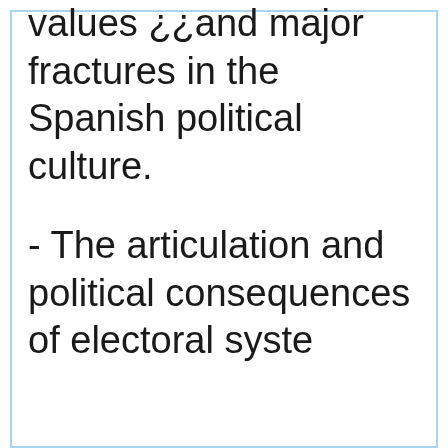values ¿¿and major fractures in the Spanish political culture.
- The articulation and political consequences of electoral systems